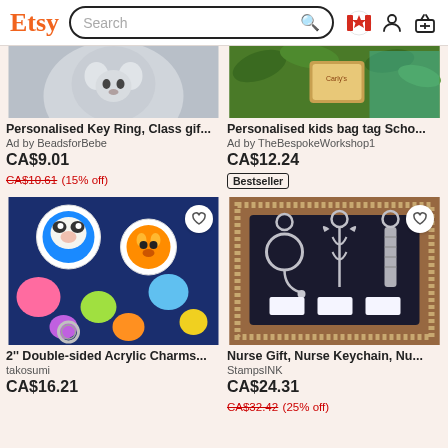Etsy Search
[Figure (screenshot): Cropped product photo of a grey cat or animal item (Personalised Key Ring)]
Personalised Key Ring, Class gif...
Ad by BeadsforBebe
CA$9.01
CA$10.61 (15% off)
[Figure (screenshot): Cropped product photo of a personalised kids bag tag with tropical/jungle theme]
Personalised kids bag tag Scho...
Ad by TheBespokeWorkshop1
CA$12.24
Bestseller
[Figure (photo): Colorful acrylic animal character keychains (Pokemon-style) piled on a blue background]
2'' Double-sided Acrylic Charms...
takosumi
CA$16.21
[Figure (photo): Nurse gift keychain set with medical symbols (caduceus, stethoscope) on dark card display]
Nurse Gift, Nurse Keychain, Nu...
StampsINK
CA$24.31
CA$32.42 (25% off)